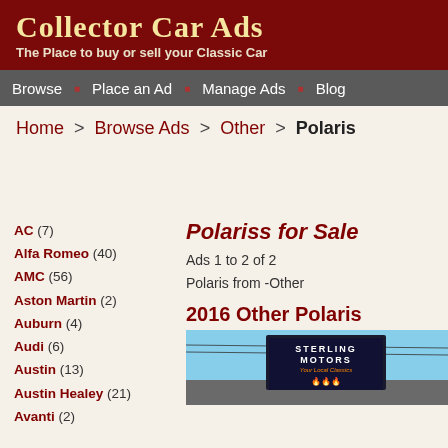Collector Car Ads - The Place to buy or sell your Classic Car
Browse | Place an Ad | Manage Ads | Blog
Home > Browse Ads > Other > Polaris
Polariss for Sale
Ads 1 to 2 of 2
Polaris from -Other
2016 Other Polaris
AC (7)
Alfa Romeo (40)
AMC (56)
Aston Martin (2)
Auburn (4)
Audi (6)
Austin (13)
Austin Healey (21)
Avanti (2)
[Figure (photo): Sterling Motors sign against blue sky]